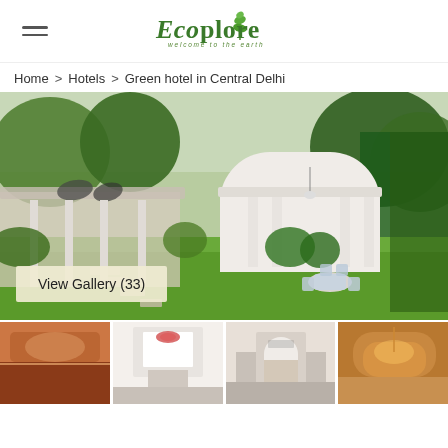Ecoplore — welcome to the earth
Home > Hotels > Green hotel in Central Delhi
[Figure (photo): Exterior view of a green hotel in Central Delhi with white colonial building, lush garden, lawn, dining table and chairs set outside]
View Gallery (33)
[Figure (photo): Four thumbnail photos of hotel interior and exterior rooms]